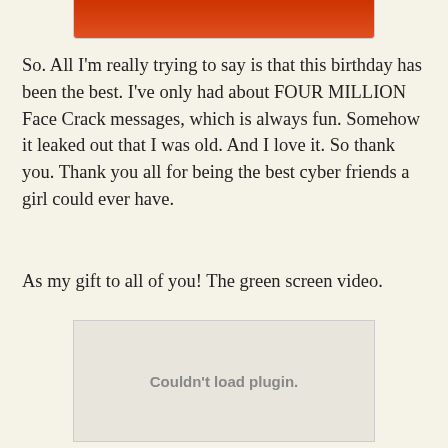[Figure (photo): Partial image strip at top showing a red/orange colored photo cropped at top of page]
So. All I'm really trying to say is that this birthday has been the best. I've only had about FOUR MILLION Face Crack messages, which is always fun. Somehow it leaked out that I was old. And I love it. So thank you. Thank you all for being the best cyber friends a girl could ever have.
As my gift to all of you! The green screen video.
[Figure (screenshot): Embedded video plugin area showing 'Couldn't load plugin.' error message]